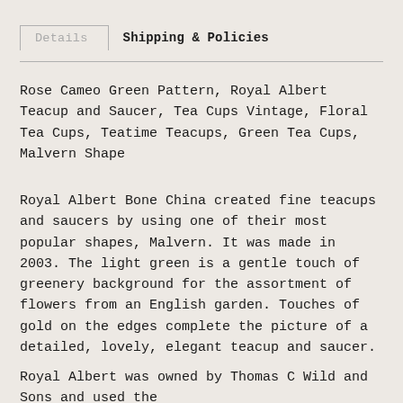Details | Shipping & Policies
Rose Cameo Green Pattern, Royal Albert Teacup and Saucer, Tea Cups Vintage, Floral Tea Cups, Teatime Teacups, Green Tea Cups, Malvern Shape
Royal Albert Bone China created fine teacups and saucers by using one of their most popular shapes, Malvern. It was made in 2003. The light green is a gentle touch of greenery background for the assortment of flowers from an English garden. Touches of gold on the edges complete the picture of a detailed, lovely, elegant teacup and saucer.
Royal Albert was owned by Thomas C Wild and Sons and used the